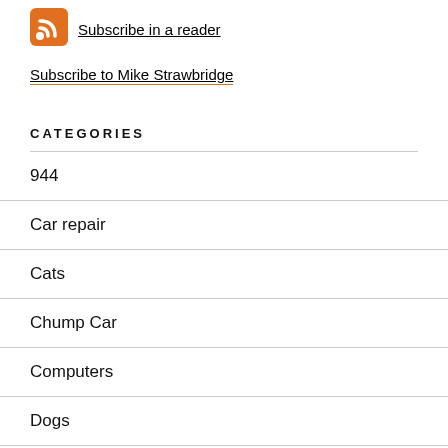[Figure (logo): Orange RSS feed icon]
Subscribe in a reader
Subscribe to Mike Strawbridge
CATEGORIES
944
Car repair
Cats
Chump Car
Computers
Dogs
ebay